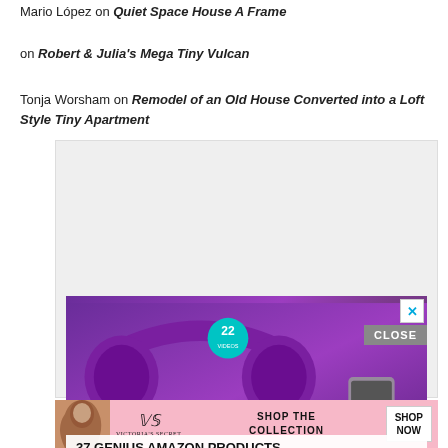Mario López on Quiet Space House A Frame
on Robert & Julia's Mega Tiny Vulcan
Tonja Worsham on Remodel of an Old House Converted into a Loft Style Tiny Apartment
[Figure (screenshot): Advertisement showing purple headphones on a wooden surface with text '37 GENIUS AMAZON PRODUCTS THAT CAN BE USED BY ANYONE' and a teal badge with '22'. Close button in top right.]
[Figure (screenshot): Victoria's Secret advertisement banner on pink background showing model, VS logo, 'SHOP THE COLLECTION' text and 'SHOP NOW' button.]